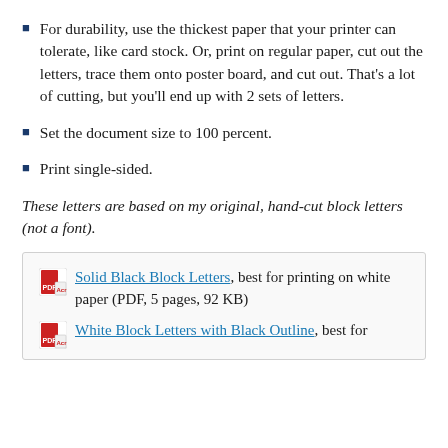For durability, use the thickest paper that your printer can tolerate, like card stock. Or, print on regular paper, cut out the letters, trace them onto poster board, and cut out. That's a lot of cutting, but you'll end up with 2 sets of letters.
Set the document size to 100 percent.
Print single-sided.
These letters are based on my original, hand-cut block letters (not a font).
Solid Black Block Letters, best for printing on white paper (PDF, 5 pages, 92 KB)
White Block Letters with Black Outline, best for